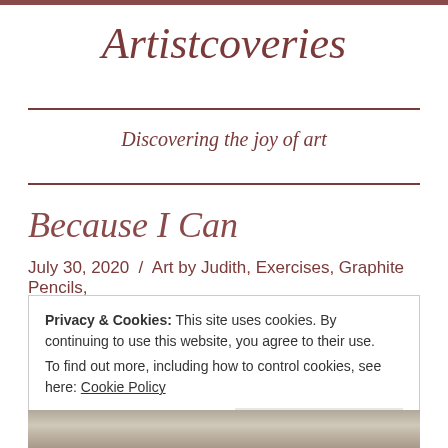Artistcoveries
Discovering the joy of art
Because I Can
July 30, 2020 / Art by Judith, Exercises, Graphite Pencils,
Privacy & Cookies: This site uses cookies. By continuing to use this website, you agree to their use.
To find out more, including how to control cookies, see here: Cookie Policy
Close and accept
[Figure (photo): Bottom portion of a pencil sketch drawing, partially visible]